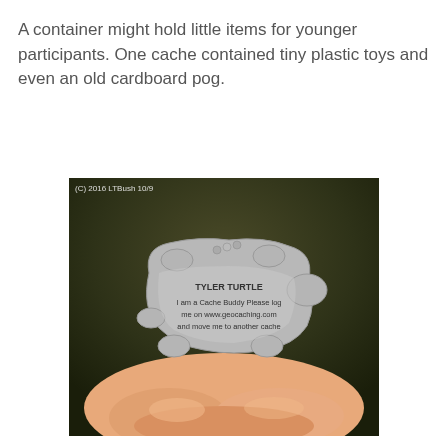A container might hold little items for younger participants.  One cache contained tiny plastic toys and even an old cardboard pog.
[Figure (photo): A hand holds a metal turtle-shaped keychain tag (Tyler Turtle Cache Buddy) with text reading 'TYLER TURTLE / I am a Cache Buddy Please log me on www.geocaching.com and move me to another cache'. Photo watermarked '(C) 2016 LTBush 10/9'.]